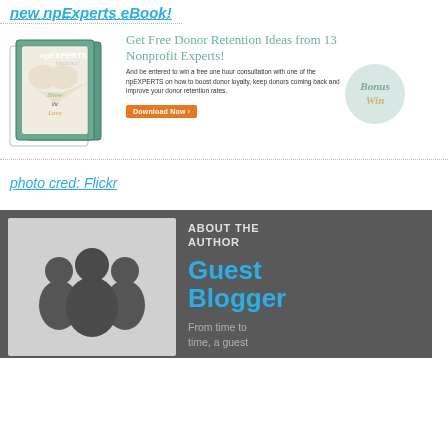new npExperts eBook!
[Figure (illustration): npExperts eBook promotional banner with book cover showing 'Show the Love' text and a 'Download Now' button, plus a 'Bonus Win' badge]
Get Free Donor Retention Ideas from 13 Nonprofit Experts!
And be entered to win a free one hour consultation with one of the npEXPERTS on how to boost donor loyalty, keep donors coming back and improve your donor retention rates.
photo cred: Flickr
ABOUT THE AUTHOR
Guest Blogger
From time to time, a guest